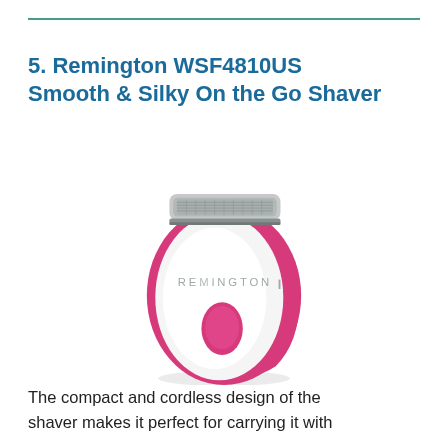5. Remington WSF4810US Smooth & Silky On the Go Shaver
[Figure (photo): Remington WSF4810US Smooth & Silky On the Go Shaver — a compact oval-shaped cordless electric shaver with white body, pink/magenta sides and accent button, silver foil shaving head at top.]
The compact and cordless design of the shaver makes it perfect for carrying it with